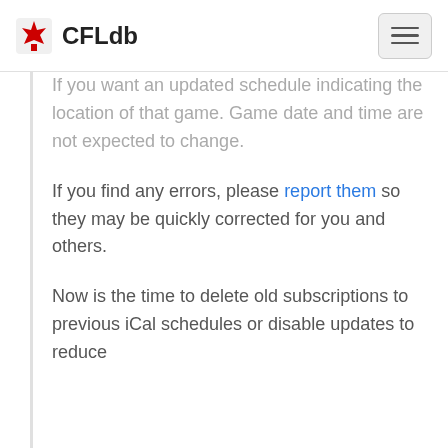CFLdb
If you want an updated schedule indicating the location of that game. Game date and time are not expected to change.
If you find any errors, please report them so they may be quickly corrected for you and others.
Now is the time to delete old subscriptions to previous iCal schedules or disable updates to reduce the load on the server. Thanks for